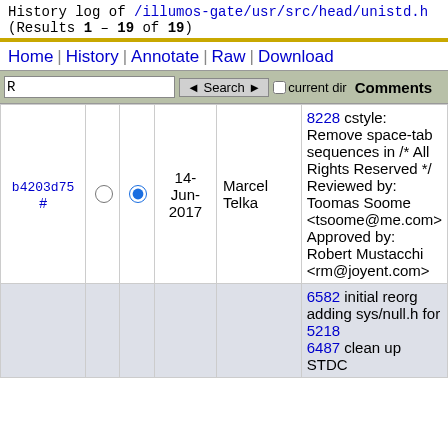History log of /illumos-gate/usr/src/head/unistd.h
(Results 1 – 19 of 19)
Home | History | Annotate | Raw | Download
| Rev |  |  | Date | Author | Comments |
| --- | --- | --- | --- | --- | --- |
| b4203d75 # | ○ | ● | 14-Jun-2017 | Marcel Telka | 8228 cstyle: Remove space-tab sequences in /* All Rights Reserved */ Reviewed by: Toomas Soome <tsoome@me.com> Approved by: Robert Mustacchi <rm@joyent.com> |
|  |  |  |  |  | 6582 initial reorg adding sys/null.h for 5218
6487 clean up STDC |